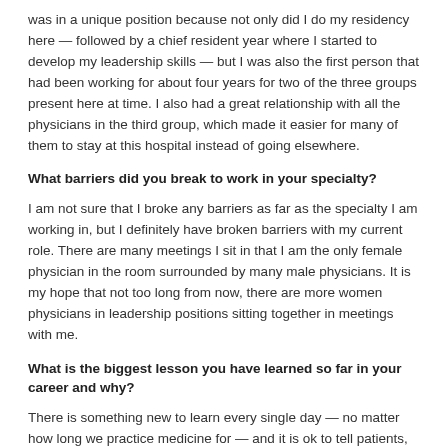was in a unique position because not only did I do my residency here — followed by a chief resident year where I started to develop my leadership skills — but I was also the first person that had been working for about four years for two of the three groups present here at time. I also had a great relationship with all the physicians in the third group, which made it easier for many of them to stay at this hospital instead of going elsewhere.
What barriers did you break to work in your specialty?
I am not sure that I broke any barriers as far as the specialty I am working in, but I definitely have broken barriers with my current role. There are many meetings I sit in that I am the only female physician in the room surrounded by many male physicians. It is my hope that not too long from now, there are more women physicians in leadership positions sitting together in meetings with me.
What is the biggest lesson you have learned so far in your career and why?
There is something new to learn every single day — no matter how long we practice medicine for — and it is ok to tell patients, nurses, mentees and others when we don't know the answer. When I was